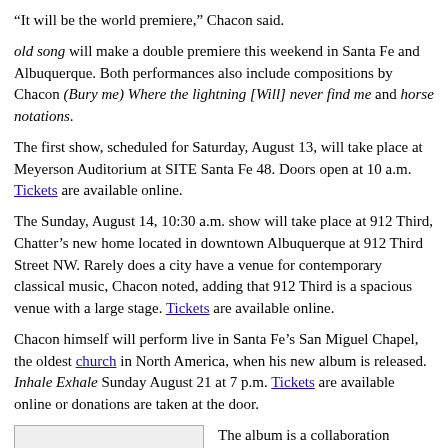“It will be the world premiere,” Chacon said.
old song will make a double premiere this weekend in Santa Fe and Albuquerque. Both performances also include compositions by Chacon (Bury me) Where the lightning [Will] never find me and horse notations.
The first show, scheduled for Saturday, August 13, will take place at Meyerson Auditorium at SITE Santa Fe 48. Doors open at 10 a.m. Tickets are available online.
The Sunday, August 14, 10:30 a.m. show will take place at 912 Third, Chatter’s new home located in downtown Albuquerque at 912 Third Street NW. Rarely does a city have a venue for contemporary classical music, Chacon noted, adding that 912 Third is a spacious venue with a large stage. Tickets are available online.
Chacon himself will perform live in Santa Fe’s San Miguel Chapel, the oldest church in North America, when his new album is released. Inhale Exhale Sunday August 21 at 7 p.m. Tickets are available online or donations are taken at the door.
[Figure (photo): Photo thumbnail: chacon-nakatani-santisteven-blanket-church-1 768-768]
The album is a collaboration between